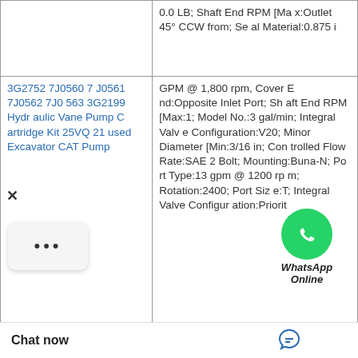| Product | Description |
| --- | --- |
|  | 0.0 LB; Shaft End RPM [Max:Outlet 45° CCW from; Seal Material:0.875 i |
| 3G2752 7J0560 7J0561 7J0562 7J0563 3G2199 Hydraulic Vane Pump Cartridge Kit 25VQ21 used Excavator CAT Pump | GPM @ 1,800 rpm, Cover End:Opposite Inlet Port; Shaft End RPM [Max:1; Model No.:3 gal/min; Integral Valve Configuration:V20; Minor Diameter [Min:3/16 in; Controlled Flow Rate:SAE 2 Bolt; Mounting:Buna-N; Port Type:13 gpm @ 1200 rpm; Rotation:2400; Port Size:T; Integral Valve Configuration:Priorit |
|  | Manufacturer Part No.:0.875 in; Shaft Dia.:Outlet 45° CW from; Port Orientation - Shaft End:N/A; Controlled Flow Rate:7 gal/min @ 12 ...Port Si |
[Figure (other): WhatsApp Online chat widget overlay with green WhatsApp icon and text 'WhatsApp Online']
× (close button overlay)
··· (menu dots overlay)
Chat now